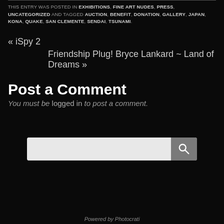THIS ENTRY WAS POSTED IN EXHIBITIONS, FINE ART NUDES, PRESS, UNCATEGORIZED AND TAGGED AUCTION, BENEFIT, DONATION, GALLERY, JAPAN, KONA, QUAKE, SAN CLEMENTE, SENDAI, TSUNAMI.
« iSpy 2
Friendship Plug! Bryce Lankard ~ Land of Dreams »
Post a Comment
You must be logged in to post a comment.
[Figure (other): Search bar with text input and search button icon]
Powered by Photocrati